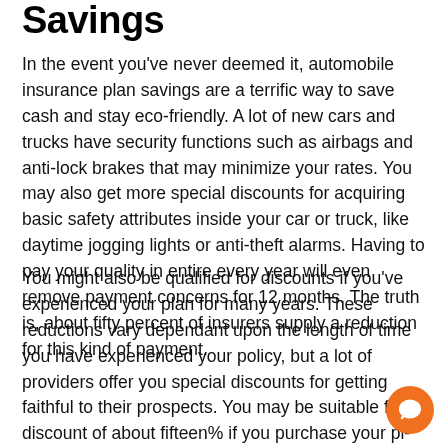Savings
In the event you've never deemed it, automobile insurance plan savings are a terrific way to save cash and stay eco-friendly. A lot of new cars and trucks have security functions such as airbags and anti-lock brakes that may minimize your rates. You may also get more special discounts for acquiring basic safety attributes inside your car or truck, like daytime jogging lights or anti-theft alarms. Having to pay your quality in entire every year will even remove payment concerns for 12 months. The truth is, about fifty percent of insurers supply a reduction for this kind of payment.
You might also be qualified for discounts if you've experienced your plan for many years. These reductions vary dependant upon the length of time you have experienced your policy, but a lot of providers offer you special discounts for getting faithful to their prospects. You may be suitable for a discount of about fifteen% if you purchase your pl not less than seven times in advance of your renewal day.